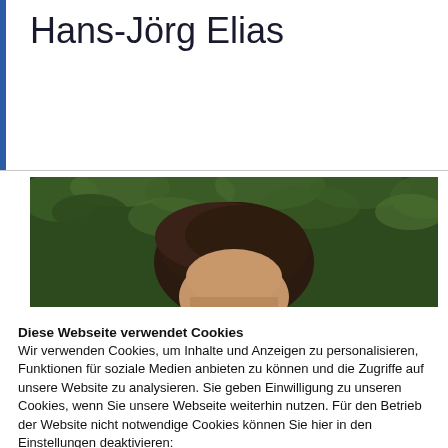Hans-Jörg Elias
[Figure (photo): Partially cropped portrait photo of a person with dark hair against a green leafy background]
Diese Webseite verwendet Cookies
Wir verwenden Cookies, um Inhalte und Anzeigen zu personalisieren, Funktionen für soziale Medien anbieten zu können und die Zugriffe auf unsere Website zu analysieren. Sie geben Einwilligung zu unseren Cookies, wenn Sie unsere Webseite weiterhin nutzen. Für den Betrieb der Website nicht notwendige Cookies können Sie hier in den Einstellungen deaktivieren:
Cookie Einstellungen
Alle Cookies erlauben